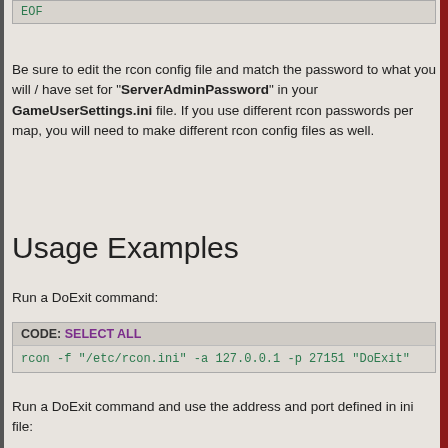EOF
Be sure to edit the rcon config file and match the password to what you will / have set for "ServerAdminPassword" in your GameUserSettings.ini file. If you use different rcon passwords per map, you will need to make different rcon config files as well.
Usage Examples
Run a DoExit command:
CODE: SELECT ALL
rcon -f "/etc/rcon.ini" -a 127.0.0.1 -p 27151 "DoExit"
Run a DoExit command and use the address and port defined in ini file:
CODE: SELECT ALL
rcon -f "/etc/rcon.ini" "DoExit"
Run a Broadcast message command using an island-instance ini file:
CODE: SELECT ALL
rcon -f "/etc/rcon-island.ini" "Broadcast About to save t